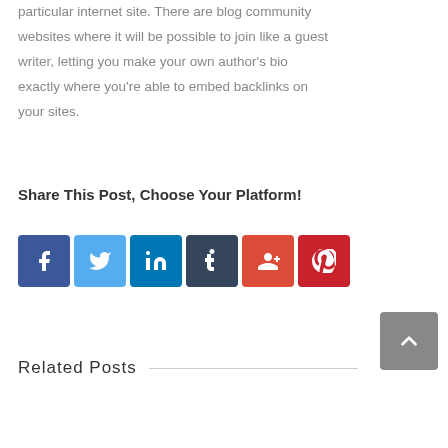particular internet site. There are blog community websites where it will be possible to join like a guest writer, letting you make your own author's bio exactly where you're able to embed backlinks on your sites.
Share This Post, Choose Your Platform!
[Figure (infographic): Social media share buttons: Facebook (blue), Twitter (light blue), LinkedIn (dark blue), Tumblr (dark navy), Google+ (red-orange), Pinterest (red)]
Related Posts